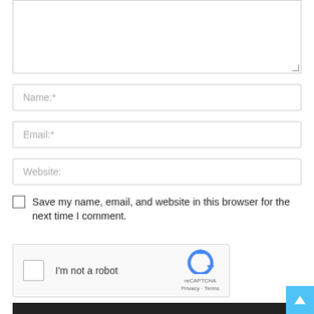[Figure (screenshot): Partial textarea (comment box) with resize handle at bottom right, top portion of a web comment form]
Name:*
Email:*
Website:
Save my name, email, and website in this browser for the next time I comment.
[Figure (screenshot): reCAPTCHA widget with checkbox, 'I'm not a robot' text, reCAPTCHA logo, and Privacy · Terms links]
[Figure (screenshot): Back to top button (light blue square with upward arrow) and dark footer bar]